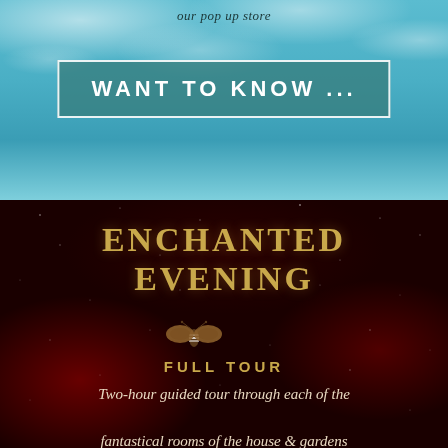our pop up store
WANT TO KNOW ...
ENCHANTED EVENING
[Figure (illustration): Moth/butterfly icon decorative element]
FULL TOUR
Two-hour guided tour through each of the fantastical rooms of the house & gardens